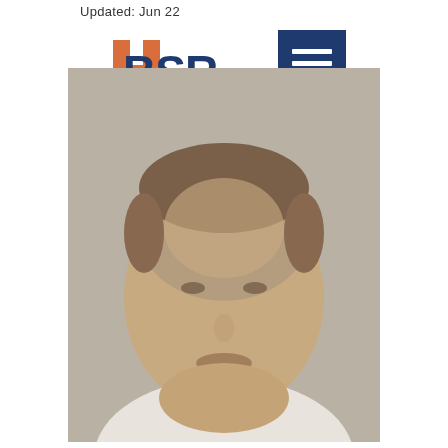Updated: Jun 22
[Figure (logo): BSR logo with orange geometric shape and stylized script text]
[Figure (other): Dark blue hamburger menu button with three white horizontal bars]
[Figure (photo): Blurred/pixelated headshot of a person with short hair and a white collar shirt against a grey background]